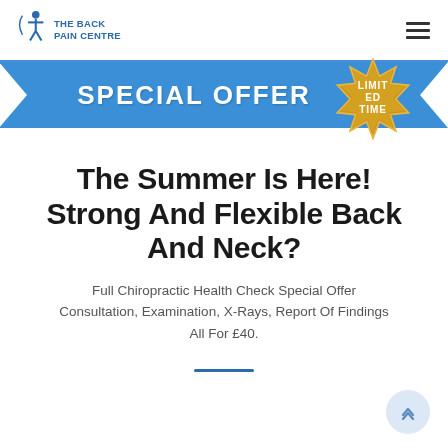THE BACK PAIN CENTRE
[Figure (illustration): Blue special offer banner ribbon with gold 'LIMITED TIME' starburst badge]
The Summer Is Here! Strong And Flexible Back And Neck?
Full Chiropractic Health Check Special Offer Consultation, Examination, X-Rays, Report Of Findings All For £40.